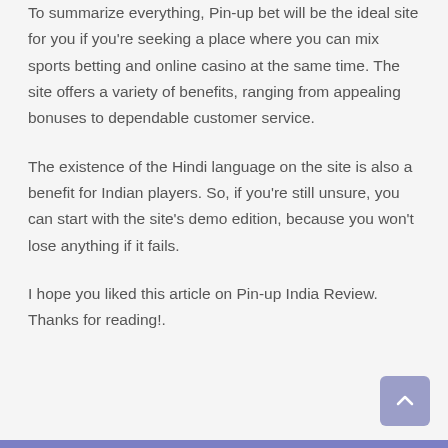To summarize everything, Pin-up bet will be the ideal site for you if you're seeking a place where you can mix sports betting and online casino at the same time. The site offers a variety of benefits, ranging from appealing bonuses to dependable customer service.
The existence of the Hindi language on the site is also a benefit for Indian players. So, if you're still unsure, you can start with the site's demo edition, because you won't lose anything if it fails.
I hope you liked this article on Pin-up India Review. Thanks for reading!.